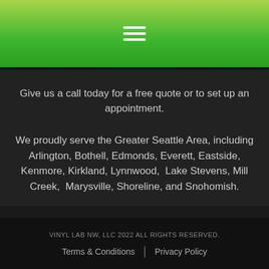[Figure (other): Green gradient header bar with hamburger menu icon (three white horizontal lines)]
Give us a call today for a free quote or to set up an appointment.
We proudly serve the Greater Seattle Area, including Arlington, Bothell, Edmonds, Everett, Eastside, Kenmore, Kirkland, Lynnwood,  Lake Stevens, Mill Creek,  Marysville, Shoreline, and Snohomish.
VINYL LAB NW, LLC 2022 ALL RIGHTS RESERVED. Terms & Conditions | Privacy Policy